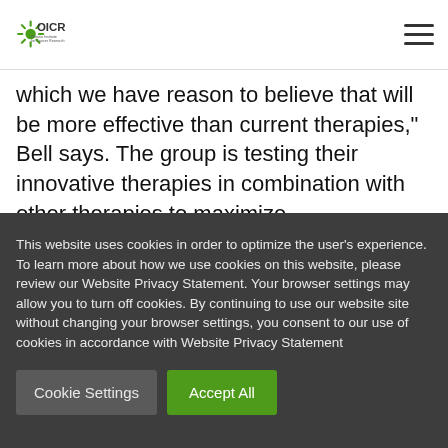OICR - Ontario Institute for Cancer Research
which we have reason to believe that will be more effective than current therapies," Bell says. The group is testing their innovative therapies in combination with other therapies to maximize
This website uses cookies in order to optimize the user's experience. To learn more about how we use cookies on this website, please review our Website Privacy Statement. Your browser settings may allow you to turn off cookies. By continuing to use our website site without changing your browser settings, you consent to our use of cookies in accordance with Website Privacy Statement